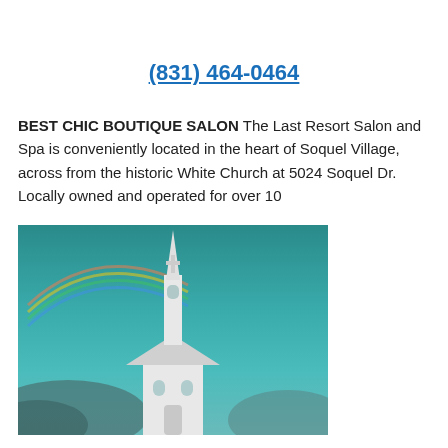(831) 464-0464
BEST CHIC BOUTIQUE SALON The Last Resort Salon and Spa is conveniently located in the heart of Soquel Village, across from the historic White Church at 5024 Soquel Dr. Locally owned and operated for over 10
[Figure (photo): Photo of a white church steeple against a teal/stormy sky with a rainbow arc visible in the upper left.]